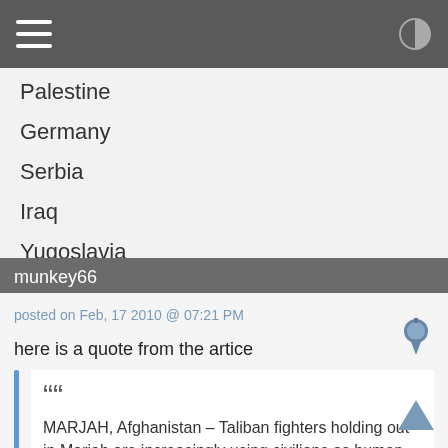Palestine
Germany
Serbia
Iraq
Yugoslavia
Lebanon
Pakistan
Tamil Tigers
munkey66
posted on Feb, 17 2010 @ 07:21 PM
here is a quote from the artice
MARJAH, Afghanistan – Taliban fighters holding out in Mariah are increasingly using civilians as human shields